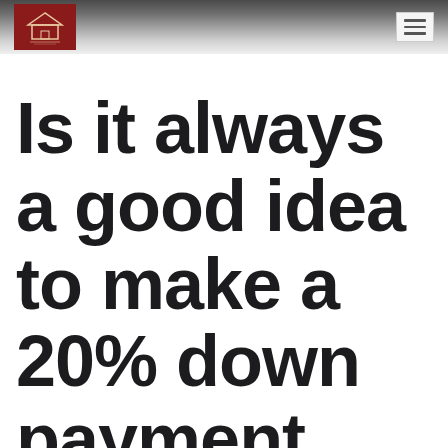[Figure (logo): Red square logo with house/building icon and text, top-left of header navigation bar]
Is it always a good idea to make a 20% down payment